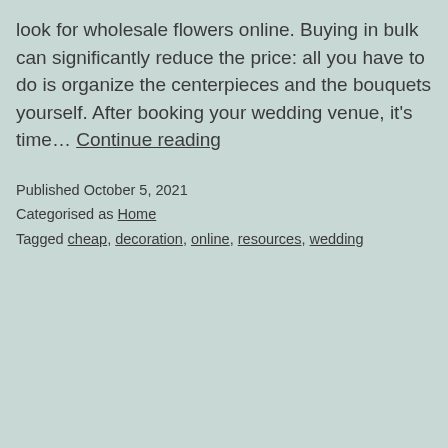look for wholesale flowers online. Buying in bulk can significantly reduce the price: all you have to do is organize the centerpieces and the bouquets yourself. After booking your wedding venue, it's time… Continue reading
Published October 5, 2021
Categorised as Home
Tagged cheap, decoration, online, resources, wedding